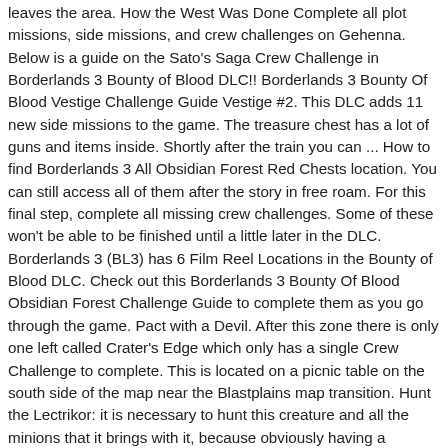leaves the area. How the West Was Done Complete all plot missions, side missions, and crew challenges on Gehenna. Below is a guide on the Sato's Saga Crew Challenge in Borderlands 3 Bounty of Blood DLC!! Borderlands 3 Bounty Of Blood Vestige Challenge Guide Vestige #2. This DLC adds 11 new side missions to the game. The treasure chest has a lot of guns and items inside. Shortly after the train you can ... How to find Borderlands 3 All Obsidian Forest Red Chests location. You can still access all of them after the story in free roam. For this final step, complete all missing crew challenges. Some of these won't be able to be finished until a little later in the DLC. Borderlands 3 (BL3) has 6 Film Reel Locations in the Bounty of Blood DLC. Check out this Borderlands 3 Bounty Of Blood Obsidian Forest Challenge Guide to complete them as you go through the game. Pact with a Devil. After this zone there is only one left called Crater's Edge which only has a single Crew Challenge to complete. This is located on a picnic table on the south side of the map near the Blastplains map transition. Hunt the Lectrikor: it is necessary to hunt this creature and all the minions that it brings with it, because obviously having a legendary weapon is the best way to get rid of it quite simply, since it usually hides behind a number of crystals of green color. Right here's the place we've discovered them to this point. Loot is on the coronary heart of Borderlands 3, however typically it's concerning the treasure hunt too. As with previous areas, Crew Challenges are optional objectives that you can complete for increased rewards. If you need more